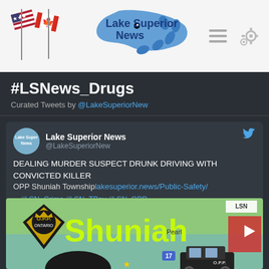[Figure (logo): Lake Superior News logo with US and Canadian flags crossed, blue fish/map graphic]
#LSNews_Drugs
Curated Tweets by @LakeSuperiorNew
Lake Superior News
@LakeSuperiorNew
DEALING MURDER SUSPECT DRUNK DRIVING WITH CONVICTED KILLER
OPP Shuniah Township lakesuperior.news/Public-Safety/
…#LSN_Crime #LSN_TBay #LSN_OPP
#LSNews_Drugs #LSN_FirstNation #LSN_Crime
#LSN_TBay #LSN_OPP  #LSNews_Drugs
#LSN_FirstNation #LSN_TBayCourthouse
[Figure (screenshot): Map showing Shuniah Township area with OPP logo, police car, and location markers including Pearl]